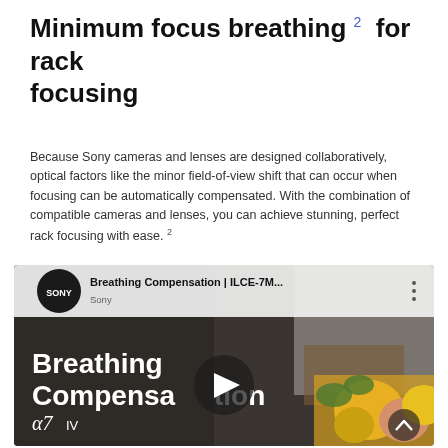Minimum focus breathing 2 for rack focusing
Because Sony cameras and lenses are designed collaboratively, optical factors like the minor field-of-view shift that can occur when focusing can be automatically compensated. With the combination of compatible cameras and lenses, you can achieve stunning, perfect rack focusing with ease. 2
[Figure (screenshot): YouTube video thumbnail showing 'Breathing Compensation | ILCE-7M...' Sony video. Thumbnail shows a person reading in an armchair with sunflowers in the foreground. White bold text reads 'Breathing Compensation' with a7 IV logo. Play button overlay in center. Sony logo and channel name in top bar.]